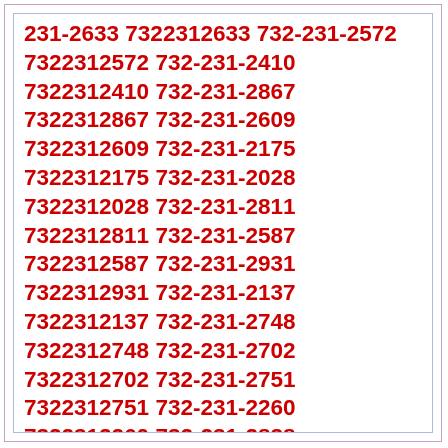231-2633 7322312633 732-231-2572 7322312572 732-231-2410 7322312410 732-231-2867 7322312867 732-231-2609 7322312609 732-231-2175 7322312175 732-231-2028 7322312028 732-231-2811 7322312811 732-231-2587 7322312587 732-231-2931 7322312931 732-231-2137 7322312137 732-231-2748 7322312748 732-231-2702 7322312702 732-231-2751 7322312751 732-231-2260 7322312260 732-231-2838 7322312838 732-231-2672 7322312672 732-231-2996 7322312996 732-231-2099 7322312099 732-231-2629 7322312629 732-231-2661 7322312661 732-231-2956 7322312956 732-231-2090 7322312090 732-231-2834 7322312834 732-231-2639 7322312639 732-231-2771 7322312771 732-231-2624 7322312624 732-231-2855 7322312855 732-231-2816 7322312816 732-231-2147 7322312147 732-231-2500 7322312500 732-231-2418 7322312418 732-231-2680 7322312680 732-231-2183 7322312183 732-231-2794